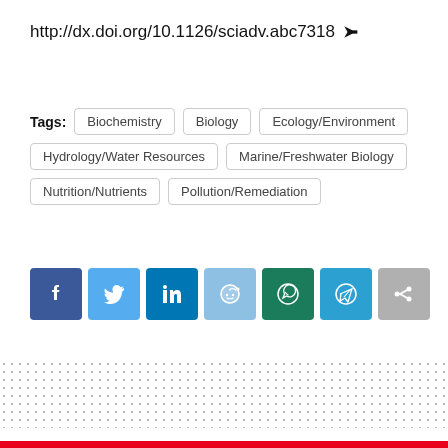http://dx.doi.org/10.1126/sciadv.abc7318 ➤
Tags: Biochemistry  Biology  Ecology/Environment  Hydrology/Water Resources  Marine/Freshwater Biology  Nutrition/Nutrients  Pollution/Remediation
[Figure (infographic): Social sharing buttons: Facebook (dark blue), Twitter (light blue), LinkedIn (blue), Reddit (light blue), WhatsApp (green), Telegram (blue), Share (grey)]
[Figure (other): Dotted/stippled rectangular area spanning the lower portion of the page]